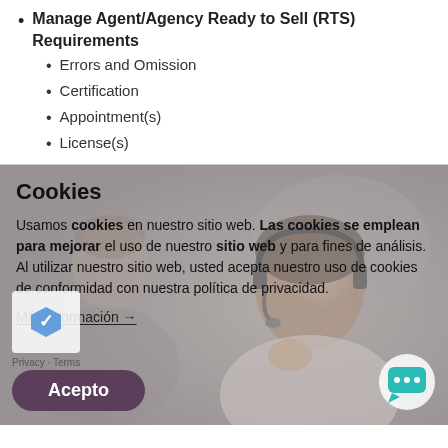Manage Agent/Agency Ready to Sell (RTS) Requirements
Errors and Omission
Certification
Appointment(s)
License(s)
[Figure (photo): Woman wearing headset smiling, background office environment, used as cookie consent banner background image]
Cookies
Usamos cookies en nuestro sitio web. Las cookies se emplean para mejorar el uso de nuestro sitio web y para fines de análisis. Al utilizar nuestro sitio web, usted acepta nuestro uso de cookies de conformidad con nuestra política de privacidad.
Más información →
Acepto